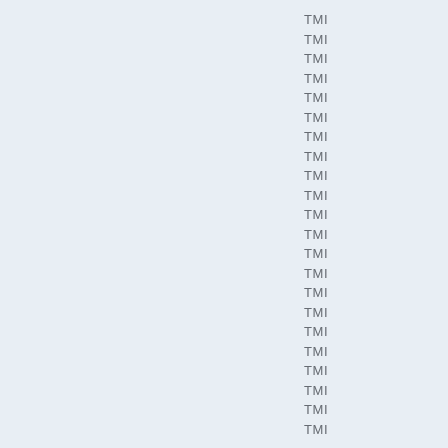TMI
TMI
TMI
TMI
TMI
TMI
TMI
TMI
TMI
TMI
TMI
TMI
TMI
TMI
TMI
TMI
TMI
TMI
TMI
TMI
TMI
TMI